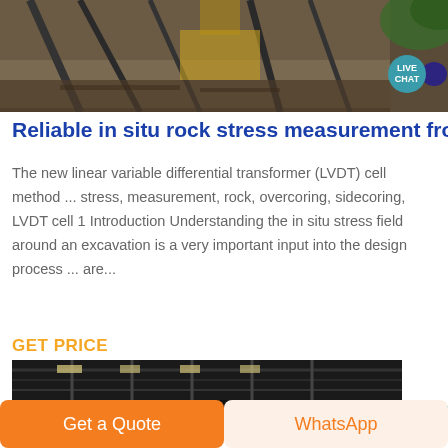[Figure (photo): Industrial/construction site machinery, overhead view of metal structures and equipment]
Reliable in situ rock stress measurement fro
The new linear variable differential transformer (LVDT) cell method ... stress, measurement, rock, overcoring, sidecoring, LVDT cell 1 Introduction Understanding the in situ stress field around an excavation is a very important input into the design process ... are...
GET PRICE
[Figure (photo): Industrial warehouse or factory interior with roof trusses and lighting]
Get a Quote
WhatsApp